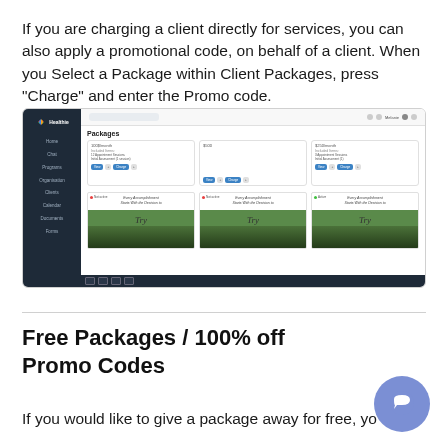If you are charging a client directly for services, you can also apply a promotional code, on behalf of a client. When you Select a Package within Client Packages, press "Charge" and enter the Promo code.
[Figure (screenshot): Screenshot of the Healthie platform showing the Packages section with three package cards (100/month, $500, $250/month), each with View and Charge buttons, and three motivational image cards below showing 'Every Accomplishment Starts With the Decision to Try']
Free Packages / 100% off Promo Codes
If you would like to give a package away for free, you are